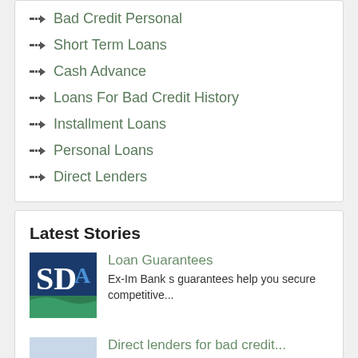Bad Credit Personal
Short Term Loans
Cash Advance
Loans For Bad Credit History
Installment Loans
Personal Loans
Direct Lenders
Latest Stories
[Figure (logo): SDA logo with blue letters and green wave graphic]
Loan Guarantees
Ex-Im Bank s guarantees help you secure competitive...
[Figure (photo): Aerial or cityscape photo of a coastal town]
Direct lenders for bad credit...
The type of loan that is right for you is...